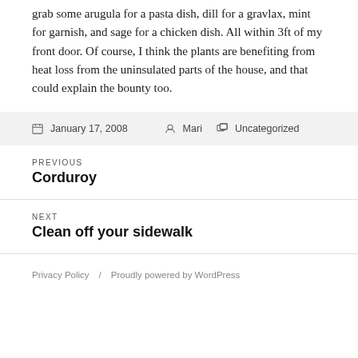grab some arugula for a pasta dish, dill for a gravlax, mint for garnish, and sage for a chicken dish. All within 3ft of my front door. Of course, I think the plants are benefiting from heat loss from the uninsulated parts of the house, and that could explain the bounty too.
January 17, 2008  Author: Mari  Categories: Uncategorized
Previous: Corduroy
Next: Clean off your sidewalk
Privacy Policy / Proudly powered by WordPress